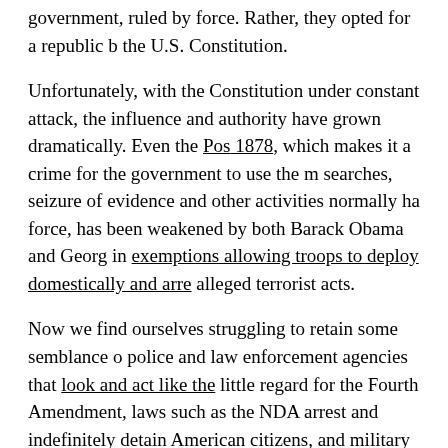government, ruled by force. Rather, they opted for a republic based on the U.S. Constitution.
Unfortunately, with the Constitution under constant attack, the influence and authority have grown dramatically. Even the Posse Comitatus Act of 1878, which makes it a crime for the government to use the military for searches, seizure of evidence and other activities normally handled by police force, has been weakened by both Barack Obama and George W. Bush, resulting in exemptions allowing troops to deploy domestically and arrest people for alleged terrorist acts.
Now we find ourselves struggling to retain some semblance of freedom from police and law enforcement agencies that look and act like the military, with little regard for the Fourth Amendment, laws such as the NDAA that allow to arrest and indefinitely detain American citizens, and military drones acclimating American people to the sight of armored tanks in the streets, military raids on cities, and combat aircraft patrolling overhead.
Making matters worse, we find out that the military plans to us